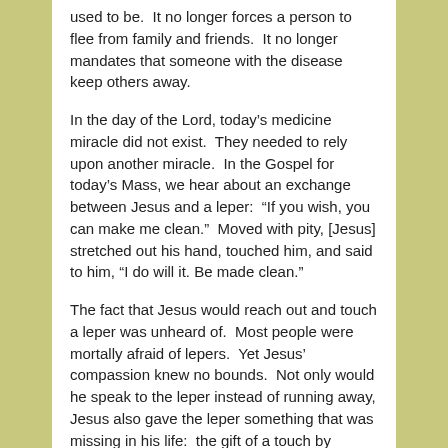used to be.  It no longer forces a person to flee from family and friends.  It no longer mandates that someone with the disease keep others away.
In the day of the Lord, today’s medicine miracle did not exist.  They needed to rely upon another miracle.  In the Gospel for today’s Mass, we hear about an exchange between Jesus and a leper:  “If you wish, you can make me clean.”  Moved with pity, [Jesus] stretched out his hand, touched him, and said to him, “I do will it. Be made clean.”
The fact that Jesus would reach out and touch a leper was unheard of.  Most people were mortally afraid of lepers.  Yet Jesus’ compassion knew no bounds.  Not only would he speak to the leper instead of running away, Jesus also gave the leper something that was missing in his life:  the gift of a touch by another human.
While leprosy may be cured, we have many “lepers” in